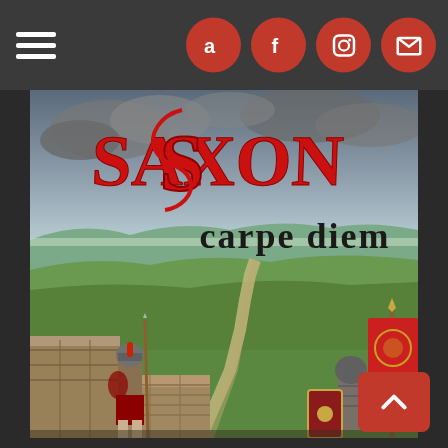[Figure (screenshot): Website screenshot showing a dark navigation bar at the top with a hamburger menu on the left and four circular red social media icons (Amazon, Facebook, Instagram, Email) on the right. Below is the album cover art for Saxon's 'Carpe Diem' album, featuring the red stylized Saxon logo at the top, 'carpe diem' text in Gothic font below it, and a painted landscape scene of Hadrian's Wall with two Roman soldiers, rolling green hills, and a dramatic cloudy sky. A red 'back to top' button with an upward arrow is in the bottom right corner.]